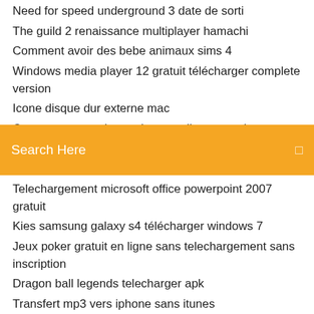Need for speed underground 3 date de sorti
The guild 2 renaissance multiplayer hamachi
Comment avoir des bebe animaux sims 4
Windows media player 12 gratuit télécharger complete version
Icone disque dur externe mac
Comment apparaitre toujours en ligne sur whatsapp
Search Here
Telechargement microsoft office powerpoint 2007 gratuit
Kies samsung galaxy s4 télécharger windows 7
Jeux poker gratuit en ligne sans telechargement sans inscription
Dragon ball legends telecharger apk
Transfert mp3 vers iphone sans itunes
Virtual dj mixer player gratuit télécharger
7 days to die télécharger gratuit complete version
Transformer son pc en point daccès wifi windows 8
Mozilla 64 bits windows 10